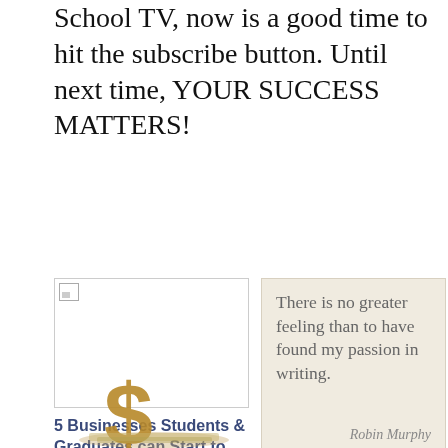School TV, now is a good time to hit the subscribe button. Until next time, YOUR SUCCESS MATTERS!
[Figure (photo): Placeholder image thumbnail with broken image icon]
[Figure (illustration): Quote box with beige background: 'There is no greater feeling than to have found my passion in writing.' - Robin Murphy]
5 Businesses Students & Graduates can Start to make money while waiting for a Job
March 2, 2014
In "Entrepreneurship"
11 Striking Business Lessons to Turn Writing Skill into Millions...
July 16, 2014
In "Blogging"
[Figure (photo): Gold/bronze dollar sign symbol with money underneath]